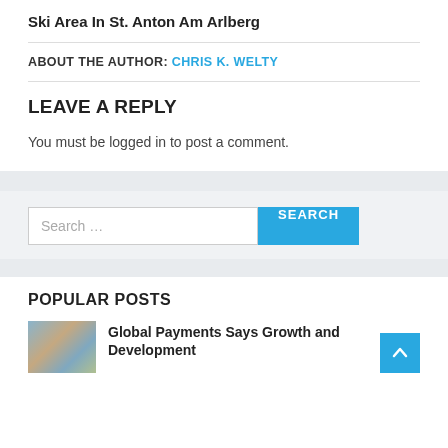Ski Area In St. Anton Am Arlberg
ABOUT THE AUTHOR: CHRIS K. WELTY
LEAVE A REPLY
You must be logged in to post a comment.
[Figure (screenshot): Search bar with text input placeholder 'Search ...' and a blue SEARCH button]
POPULAR POSTS
[Figure (photo): Thumbnail image for popular post]
Global Payments Says Growth and Development